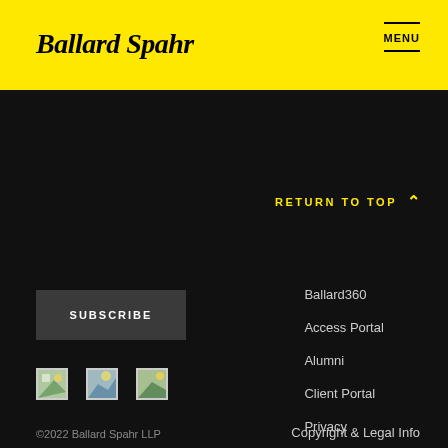Ballard Spahr
RETURN TO TOP
SUBSCRIBE
[Figure (logo): Three social media icon images]
Ballard360
Access Portal
Alumni
Client Portal
Privacy
Attorney Advertising
©2022 Ballard Spahr LLP
Copyright & Legal Info